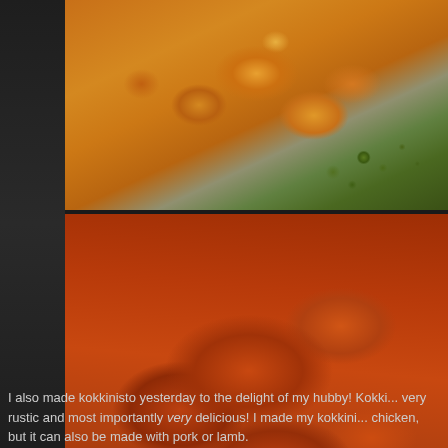[Figure (photo): Close-up food photo showing shredded orange/golden fried food (possibly fried chicken or similar) with green vegetables in background]
[Figure (photo): Close-up food photo showing a braised or stewed meat dish in rich dark reddish-brown sauce on a white plate - kokkinisto]
I also made kokkinisto yesterday to the delight of my hubby! Kokki... very rustic and most importantly very delicious! I made my kokkini... chicken, but it can also be made with pork or lamb. The chicken was marinaded, only for a few minutes in half a bottle... red wine would also do, as long as it is full-bodied, not too light, th...